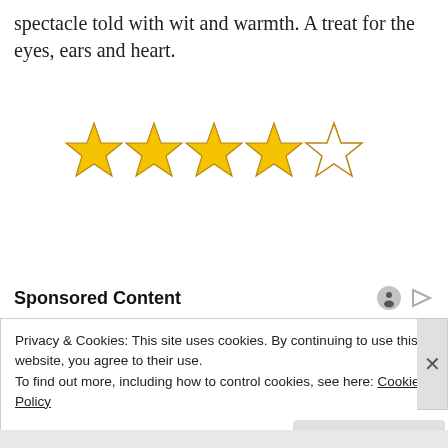spectacle told with wit and warmth. A treat for the eyes, ears and heart.
[Figure (other): 4 out of 5 stars rating: four gold stars and one empty/outline star]
Sponsored Content
Privacy & Cookies: This site uses cookies. By continuing to use this website, you agree to their use.
To find out more, including how to control cookies, see here: Cookie Policy
Close and accept